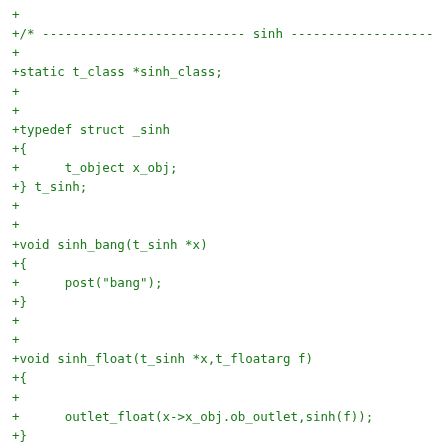+
+/* --------------------------- sinh -------------------
+
+static t_class *sinh_class;
+
+
+typedef struct _sinh
+{
+      t_object x_obj;
+} t_sinh;
+
+
+void sinh_bang(t_sinh *x)
+{
+      post("bang");
+}
+
+
+void sinh_float(t_sinh *x,t_floatarg f)
+{
+
+      outlet_float(x->x_obj.ob_outlet,sinh(f));
+}
+
+
+static void *sinh_new()
+{
+      t_sinh *x = (t_sinh *)pd_new(sinh_class);
+
+      outlet_new(&x->x_obj,&s_float);